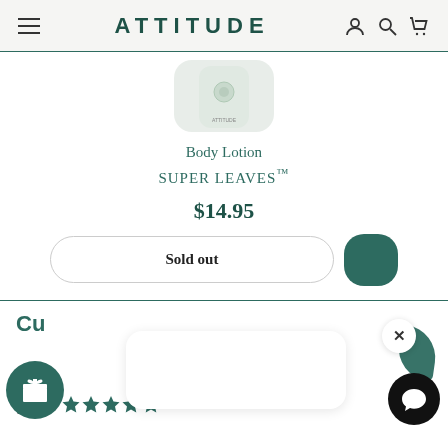ATTITUDE
[Figure (photo): Partial top view of a light-green ATTITUDE Body Lotion SUPER LEAVES product bottle]
Body Lotion
SUPER LEAVES™
$14.95
Sold out
Cu
5.0 ★★★★★ Based on 1 Reviews